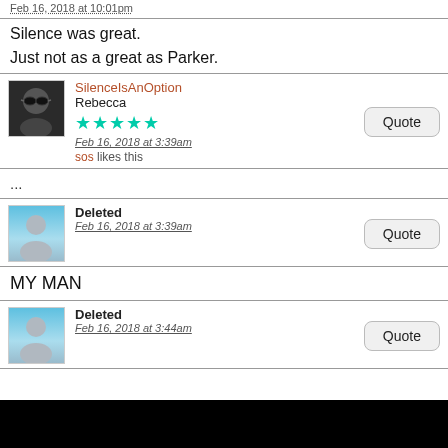Feb 16, 2018 at 10:01pm
Silence was great.
Just not as a great as Parker.
SilenceIsAnOption
Rebecca
★★★★★
Feb 16, 2018 at 3:39am
sos likes this
...
Deleted
Feb 16, 2018 at 3:39am
MY MAN
Deleted
Feb 16, 2018 at 3:44am